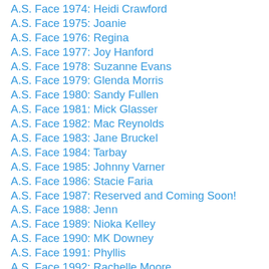A.S. Face 1974: Heidi Crawford
A.S. Face 1975: Joanie
A.S. Face 1976: Regina
A.S. Face 1977: Joy Hanford
A.S. Face 1978: Suzanne Evans
A.S. Face 1979: Glenda Morris
A.S. Face 1980: Sandy Fullen
A.S. Face 1981: Mick Glasser
A.S. Face 1982: Mac Reynolds
A.S. Face 1983: Jane Bruckel
A.S. Face 1984: Tarbay
A.S. Face 1985: Johnny Varner
A.S. Face 1986: Stacie Faria
A.S. Face 1987: Reserved and Coming Soon!
A.S. Face 1988: Jenn
A.S. Face 1989: Nioka Kelley
A.S. Face 1990: MK Downey
A.S. Face 1991: Phyllis
A.S. Face 1992: Rachelle Moore
A.S. Face 1993: Carol